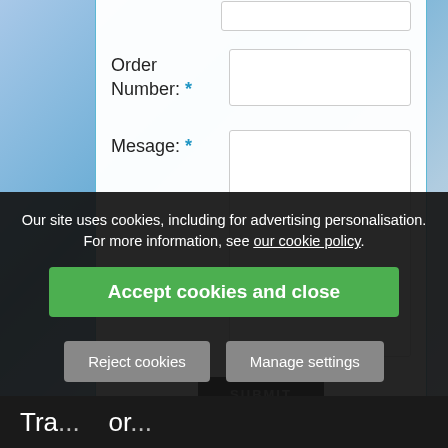Order Number: *
Mesage: *
SUBMIT
Our site uses cookies, including for advertising personalisation. For more information, see our cookie policy.
Accept cookies and close
Reject cookies
Manage settings
Tra... or...